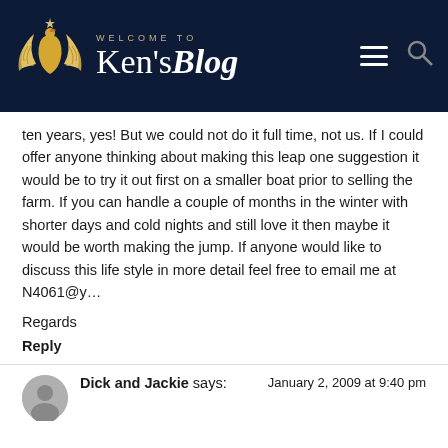[Figure (logo): Ken's Blog logo with golden swan/wings illustration on dark navy background with 'WELCOME TO Ken'sBlog' text and navigation icons]
ten years, yes! But we could not do it full time, not us. If I could offer anyone thinking about making this leap one suggestion it would be to try it out first on a smaller boat prior to selling the farm. If you can handle a couple of months in the winter with shorter days and cold nights and still love it then maybe it would be worth making the jump. If anyone would like to discuss this life style in more detail feel free to email me at N4061@y…
Regards
Reply
Dick and Jackie says:
January 2, 2009 at 9:40 pm